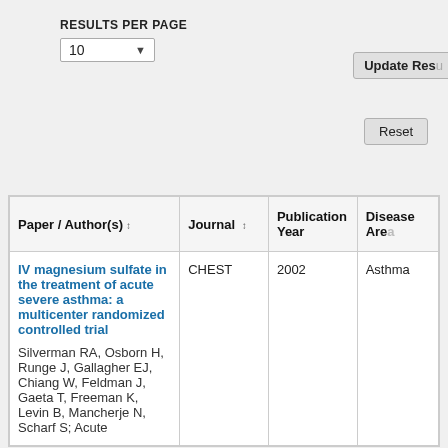RESULTS PER PAGE
10
Update Results
Reset
| Paper / Author(s) | Journal | Publication Year | Disease Area |
| --- | --- | --- | --- |
| IV magnesium sulfate in the treatment of acute severe asthma: a multicenter randomized controlled trial
Silverman RA, Osborn H, Runge J, Gallagher EJ, Chiang W, Feldman J, Gaeta T, Freeman K, Levin B, Mancherje N, Scharf S; Acute | CHEST | 2002 | Asthma |